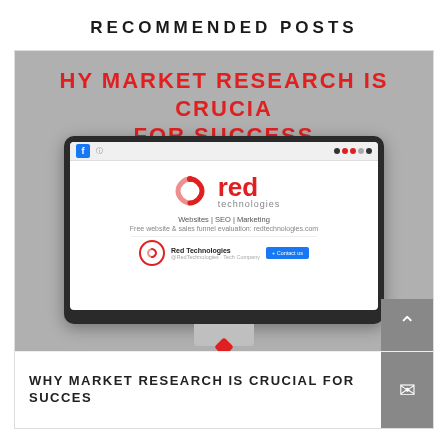RECOMMENDED POSTS
[Figure (screenshot): Screenshot of a webpage/blog card showing 'WHY MARKET RESEARCH IS CRUCIAL FOR SUCCESS' with a monitor displaying Red Technologies Facebook page with red logo, tagline 'Websites | SEO | Marketing', and URL for free website & sales funnel evaluation. Below is a scroll-to-top button.]
WHY MARKET RESEARCH IS CRUCIAL FOR SUCCESS